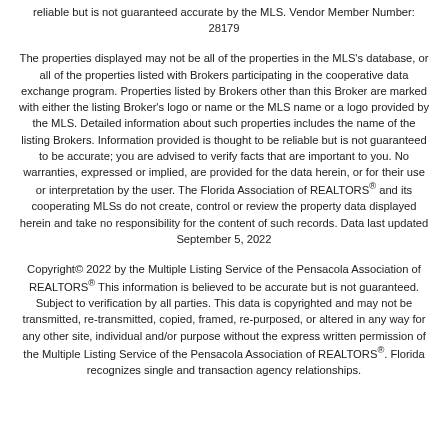reliable but is not guaranteed accurate by the MLS. Vendor Member Number: 28179
The properties displayed may not be all of the properties in the MLS's database, or all of the properties listed with Brokers participating in the cooperative data exchange program. Properties listed by Brokers other than this Broker are marked with either the listing Broker's logo or name or the MLS name or a logo provided by the MLS. Detailed information about such properties includes the name of the listing Brokers. Information provided is thought to be reliable but is not guaranteed to be accurate; you are advised to verify facts that are important to you. No warranties, expressed or implied, are provided for the data herein, or for their use or interpretation by the user. The Florida Association of REALTORS® and its cooperating MLSs do not create, control or review the property data displayed herein and take no responsibility for the content of such records. Data last updated September 5, 2022
Copyright© 2022 by the Multiple Listing Service of the Pensacola Association of REALTORS® This information is believed to be accurate but is not guaranteed. Subject to verification by all parties. This data is copyrighted and may not be transmitted, re-transmitted, copied, framed, re-purposed, or altered in any way for any other site, individual and/or purpose without the express written permission of the Multiple Listing Service of the Pensacola Association of REALTORS®. Florida recognizes single and transaction agency relationships.